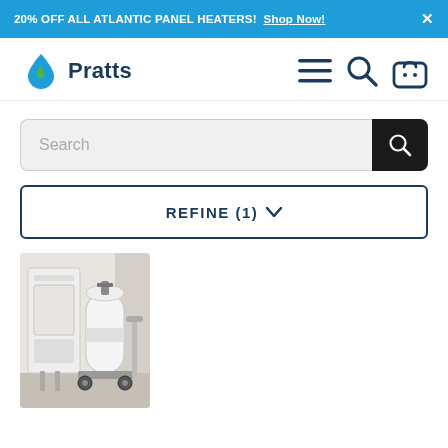20% OFF ALL ATLANTIC PANEL HEATERS! Shop Now! ×
[Figure (logo): Pratts logo with blue/green water drop icon and 'Pratts' wordmark]
Search
REFINE (1) ▾
[Figure (photo): A white tankless water heater mounted on wall next to a large white propane/gas cylinder on a wheeled cart, indoor setting]